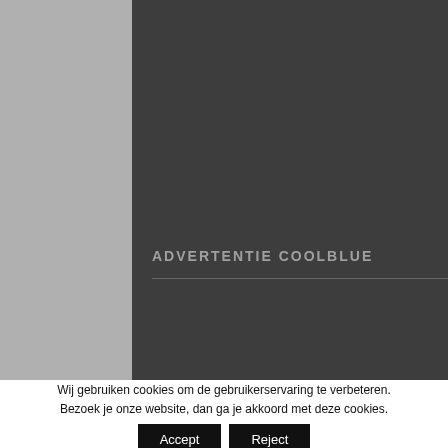[Figure (other): Dark grey advertisement panel with text 'ADVERTENTIE COOLBLUE' and a horizontal divider line, on a grey background]
Wij gebruiken cookies om de gebruikerservaring te verbeteren. Bezoek je onze website, dan ga je akkoord met deze cookies.
Accept
Reject